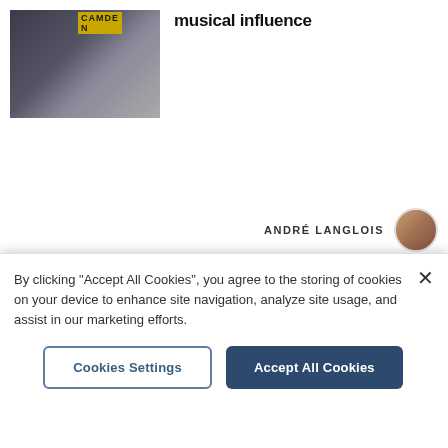[Figure (photo): Two photos side by side: a man in a dark suit with arms crossed on the left, and a busy Camden street scene with yellow CAMDEN sign on the right.]
musical influence
ANDRÉ LANGLOIS
[Figure (photo): Small circular avatar photo of André Langlois.]
Newsletters | About Us | Contact Us | Advertise With Us | All Topics | Complaints | Jobs at Archant | Contributors Charter | Cookie Policy | Privacy Policy | Terms & Conditions | Archant | Manage Cookies
By clicking "Accept All Cookies", you agree to the storing of cookies on your device to enhance site navigation, analyze site usage, and assist in our marketing efforts.
Cookies Settings
Accept All Cookies